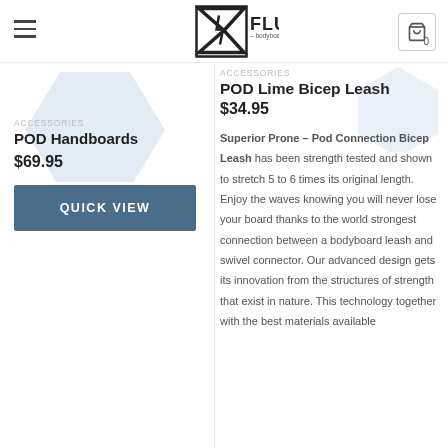FLUX – bodyboard store
POD Handboards
$69.95
QUICK VIEW
POD Lime Bicep Leash
$34.95
Superior Prone – Pod Connection Bicep Leash has been strength tested and shown to stretch 5 to 6 times its original length. Enjoy the waves knowing you will never lose your board thanks to the world strongest connection between a bodyboard leash and swivel connector. Our advanced design gets its innovation from the structures of strength that exist in nature. This technology together with the best materials available